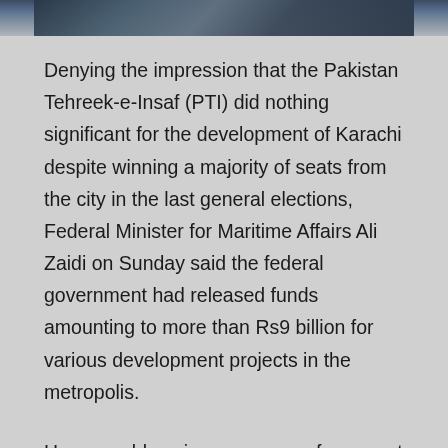[Figure (photo): Cropped bottom portion of a photograph showing people at what appears to be a press conference or meeting, with electronics/screens visible in the background.]
Denying the impression that the Pakistan Tehreek-e-Insaf (PTI) did nothing significant for the development of Karachi despite winning a majority of seats from the city in the last general elections, Federal Minister for Maritime Affairs Ali Zaidi on Sunday said the federal government had released funds amounting to more than Rs9 billion for various development projects in the metropolis.
He was addressing a press conference at the Insaf House where former Citizens-Police Liaison Committee (CPLC) chief Sharafuddin Memon announced his decision to join the PTI.